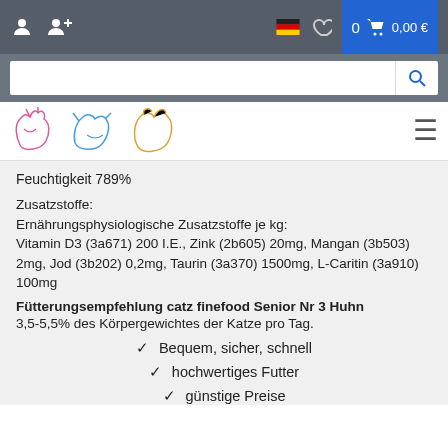Navigation bar with user icons, German flag, wishlist, cart (0, 0,00 €)
Feuchtigkeit 789%
Zusatzstoffe:
Ernährungsphysiologische Zusatzstoffe je kg:
Vitamin D3 (3a671) 200 I.E., Zink (2b605) 20mg, Mangan (3b503) 2mg, Jod (3b202) 0,2mg, Taurin (3a370) 1500mg, L-Caritin (3a910) 100mg
Fütterungsempfehlung catz finefood Senior Nr 3 Huhn
3,5-5,5% des Körpergewichtes der Katze pro Tag.
✔ Bequem, sicher, schnell
✔ hochwertiges Futter
✔ günstige Preise